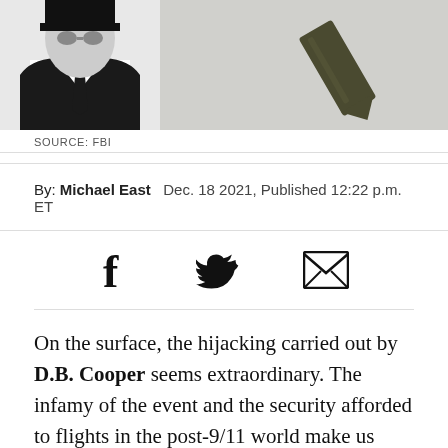[Figure (photo): Two side-by-side photos: left shows a black-and-white sketch/photo of D.B. Cooper (man in suit with dark sunglasses area), right shows a dark olive/brown necktie on a light surface.]
SOURCE: FBI
By: Michael East   Dec. 18 2021, Published 12:22 p.m. ET
[Figure (infographic): Social sharing icons: Facebook (f), Twitter (bird), Email (envelope)]
On the surface, the hijacking carried out by D.B. Cooper seems extraordinary. The infamy of the event and the security afforded to flights in the post-9/11 world make us almost unable to comprehend